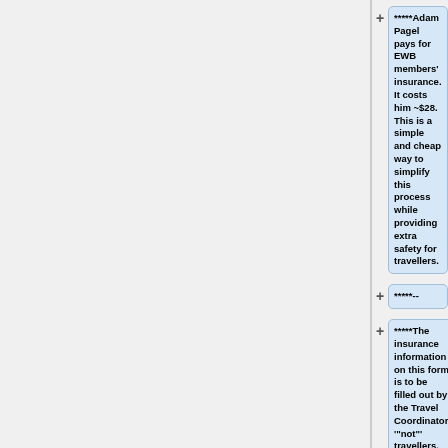*****Adam Pagel pays for EWB members' insurance. It costs him ~$28. This is a simple and cheap way to simplify this process while providing extra safety for travellers.
*****--
*****The insurance information on this form is to be filled out by the Travel Coordinator, '"not"' travellers. Travellers should sign, date, and return the form.
*****Alternatively